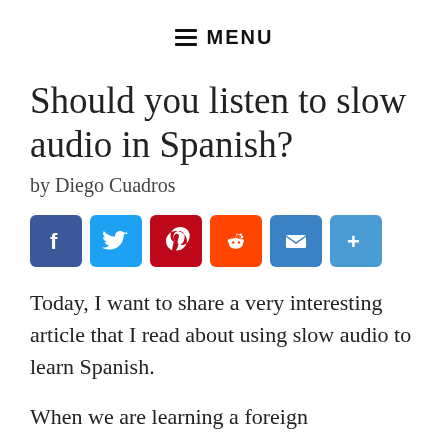≡ MENU
Should you listen to slow audio in Spanish?
by Diego Cuadros
[Figure (infographic): Row of social sharing icon buttons: Facebook (blue), Twitter (light blue), Pinterest (dark red), Reddit (orange-red), Email (blue), More/Share (blue)]
Today, I want to share a very interesting article that I read about using slow audio to learn Spanish.
When we are learning a foreign